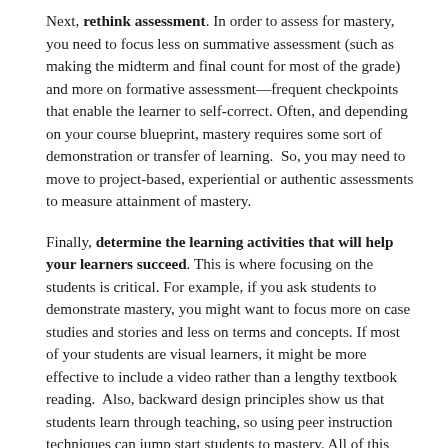Next, rethink assessment. In order to assess for mastery, you need to focus less on summative assessment (such as making the midterm and final count for most of the grade) and more on formative assessment—frequent checkpoints that enable the learner to self-correct. Often, and depending on your course blueprint, mastery requires some sort of demonstration or transfer of learning.  So, you may need to move to project-based, experiential or authentic assessments to measure attainment of mastery.
Finally, determine the learning activities that will help your learners succeed. This is where focusing on the students is critical. For example, if you ask students to demonstrate mastery, you might want to focus more on case studies and stories and less on terms and concepts. If most of your students are visual learners, it might be more effective to include a video rather than a lengthy textbook reading.  Also, backward design principles show us that students learn through teaching, so using peer instruction techniques can jump start students to mastery. All of this may sound like a lot of work, and for many instructors and learning designers, a lot of change.  But, it doesn't have to happen all at once.  Take a few steps today and see where it takes you tomorrow.  If more learning experiences were focused on mastery, student success and retention would increase and